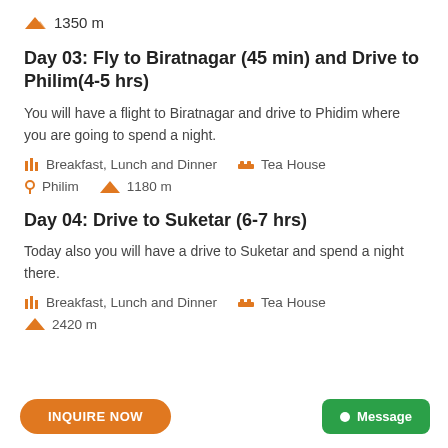1350 m
Day 03: Fly to Biratnagar (45 min) and Drive to Philim(4-5 hrs)
You will have a flight to Biratnagar and drive to Phidim where you are going to spend a night.
Breakfast, Lunch and Dinner
Tea House
Philim
1180 m
Day 04: Drive to Suketar (6-7 hrs)
Today also you will have a drive to Suketar and spend a night there.
Breakfast, Lunch and Dinner
Tea House
2420 m